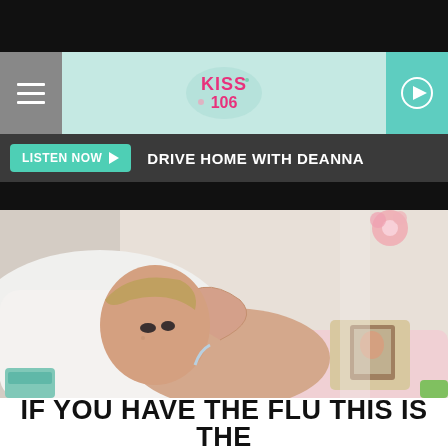[Figure (screenshot): KISS 106 radio station website screenshot showing navigation bar with hamburger menu, KISS 106 logo, play button, Listen Now bar with Drive Home with Deanna text, and a photo of a sick woman lying in bed holding her forehead]
IF YOU HAVE THE FLU THIS IS THE